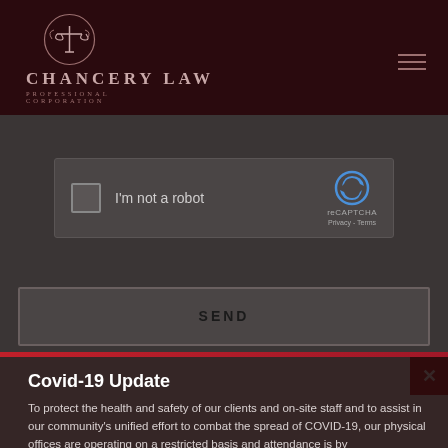[Figure (logo): Chancery Law Professional Corporation logo with scales of justice emblem and text]
[Figure (screenshot): reCAPTCHA widget with checkbox labeled I'm not a robot and reCAPTCHA branding with Privacy and Terms links]
SEND
Covid-19 Update
To protect the health and safety of our clients and on-site staff and to assist in our community's unified effort to combat the spread of COVID-19, our physical offices are operating on a restricted basis and attendance is by